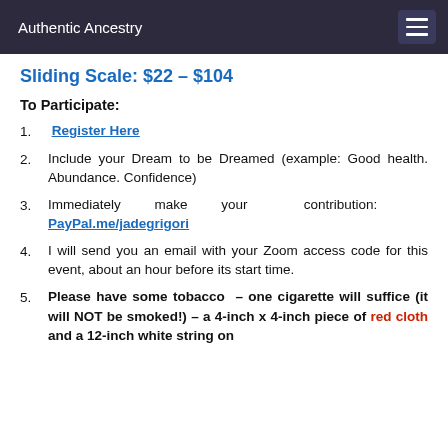Authentic Ancestry
Sliding Scale: $22 – $104
To Participate:
Register Here
Include your Dream to be Dreamed (example: Good health. Abundance. Confidence)
Immediately make your contribution: PayPal.me/jadegrigori
I will send you an email with your Zoom access code for this event, about an hour before its start time.
Please have some tobacco – one cigarette will suffice (it will NOT be smoked!) – a 4-inch x 4-inch piece of red cloth and a 12-inch white string on